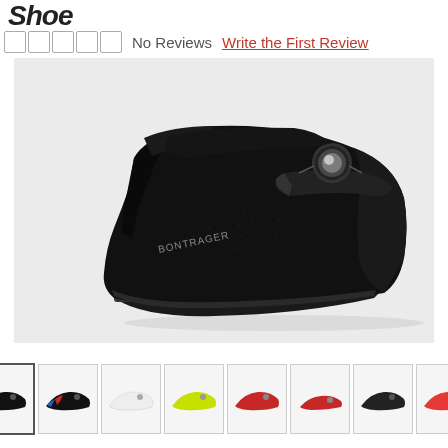Shoe
No Reviews   Write the First Review
[Figure (photo): Side profile photo of a black Bontrager cycling road shoe with BOA dial closure and velcro strap on a light gray background]
[Figure (photo): Thumbnail gallery showing 8 color variants of the Bontrager cycling shoe: black, black/blue/red, white, yellow-green, red, red (low-cut), black, red]